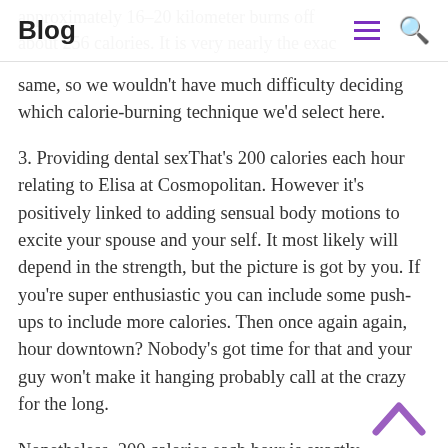Blog
approximately 16–20 kilometer burns off about 256 calories. It is very nearly the exact same, so we wouldn't have much difficulty deciding which calorie-burning technique we'd select here.
3. Providing dental sexThat's 200 calories each hour relating to Elisa at Cosmopolitan. However it's positively linked to adding sensual body motions to excite your spouse and your self. It most likely will depend in the strength, but the picture is got by you. If you're super enthusiastic you can include some push-ups to include more calories. Then once again again, hour downtown? Nobody's got time for that and your guy won't make it hanging probably call at the crazy for the long.
Nonetheless, 200 calories each hour is exactly